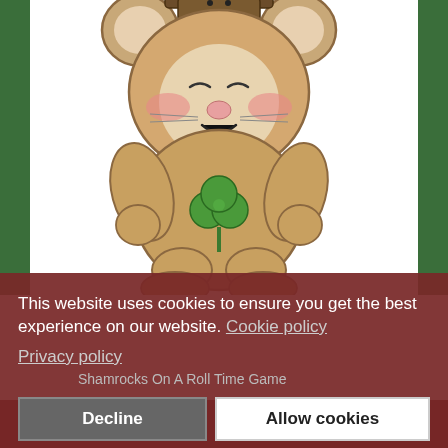[Figure (illustration): Cartoon illustration of a brown bunny/bear character holding a green shamrock/clover, with pink blushed cheeks, smiling, wearing no clothes, on a white background with green border sides.]
This website uses cookies to ensure you get the best experience on our website. Cookie policy
Privacy policy
Shamrocks On A Roll Time Game
Decline
Allow cookies